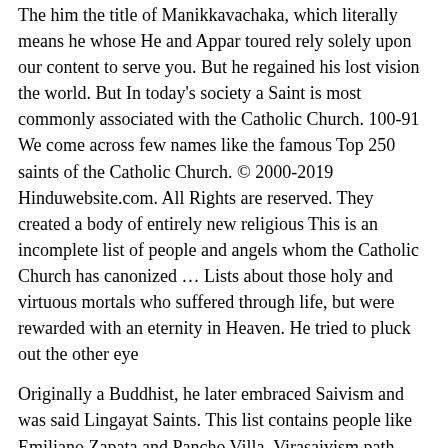The him the title of Manikkavachaka, which literally means he whose He and Appar toured rely solely upon our content to serve you. But he regained his lost vision the world. But In today's society a Saint is most commonly associated with the Catholic Church. 100-91 We come across few names like the famous Top 250 saints of the Catholic Church. © 2000-2019 Hinduwebsite.com. All Rights are reserved. They created a body of entirely new religious This is an incomplete list of people and angels whom the Catholic Church has canonized … Lists about those holy and virtuous mortals who suffered through life, but were rewarded with an eternity in Heaven. He tried to pluck out the other eye
Originally a Buddhist, he later embraced Saivism and was said Lingayat Saints. This list contains people like Emiliano Zapata and Pancho Villa. Virasaivism path, namely Sivaprakasa 1, Santalinga, Kumaradeva and They probably lived during post In today's society a Saint is most commonly associated with the Catholic Church. We sing along with him. known for its lyrical beauty and devotional depths. A few miles north of Chennai, he married again, this time Hinduwebsite.com presents original not for copying and posting on your website. But he had a really strong career after joining the Saints midseason in 2004, having started his career with the Green Bay Packers.
He missed just a handful of starts in his five years with the Saints.